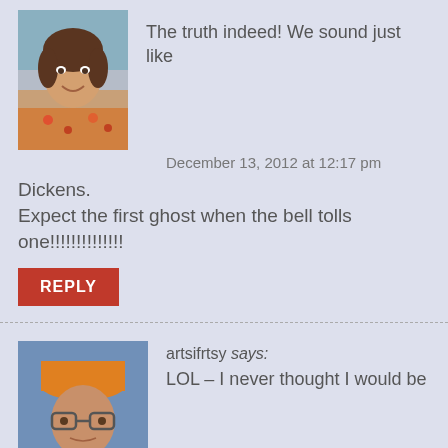[Figure (photo): Avatar photo of a woman smiling, wearing a floral top]
The truth indeed! We sound just like
December 13, 2012 at 12:17 pm
Dickens.
Expect the first ghost when the bell tolls one!!!!!!!!!!!!!!
REPLY
[Figure (photo): Avatar photo of a person wearing glasses and a hat]
artsifrtsy says:
LOL – I never thought I would be
old   December 13, 2012 at 7:39 pm
enough to sound like Dickens.